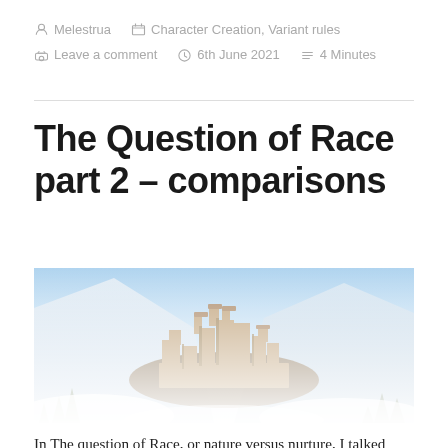Melestrua   Character Creation, Variant rules   Leave a comment   6th June 2021   4 Minutes
The Question of Race part 2 – comparisons
[Figure (photo): A fantasy medieval city with tall towers and dense stone buildings situated on a rocky hilltop, surrounded by snow-capped mountains and pine trees with fog/snow in the foreground.]
In The question of Race, or nature versus nurture, I talked about an elf who grew up on the street and wouldn't have learned elvish proficiency, and other